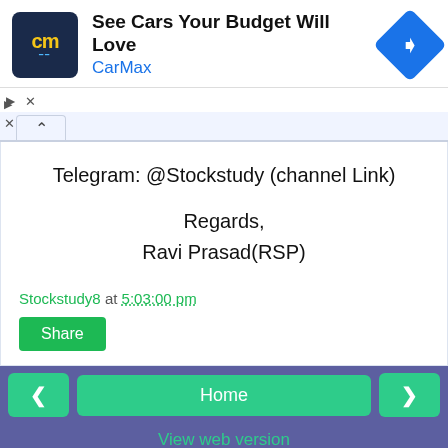[Figure (screenshot): CarMax advertisement banner with logo, text 'See Cars Your Budget Will Love', brand name 'CarMax', and a blue direction arrow icon]
Telegram: @Stockstudy (channel Link)
Regards,
Ravi Prasad(RSP)
Stockstudy8 at 5:03:00 pm
Share
< Home > View web version